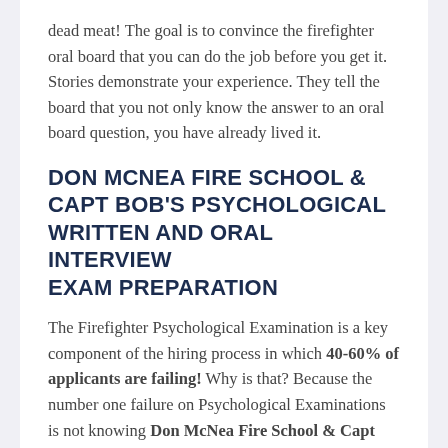dead meat! The goal is to convince the firefighter oral board that you can do the job before you get it. Stories demonstrate your experience. They tell the board that you not only know the answer to an oral board question, you have already lived it.
DON MCNEA FIRE SCHOOL & CAPT BOB'S PSYCHOLOGICAL WRITTEN AND ORAL INTERVIEW EXAM PREPARATION
The Firefighter Psychological Examination is a key component of the hiring process in which 40-60% of applicants are failing! Why is that? Because the number one failure on Psychological Examinations is not knowing Don McNea Fire School & Capt Bob's Psychological Written &